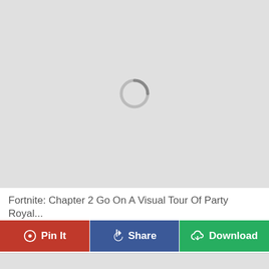[Figure (screenshot): Gray image placeholder with a loading spinner circle in the center]
Fortnite: Chapter 2 Go On A Visual Tour Of Party Royal...
Pin It | Share | Download